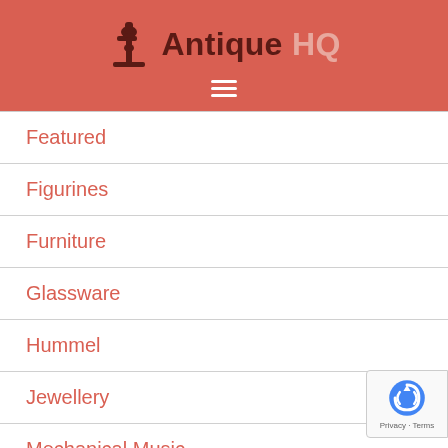Antique HQ
Featured
Figurines
Furniture
Glassware
Hummel
Jewellery
Mechanical Music